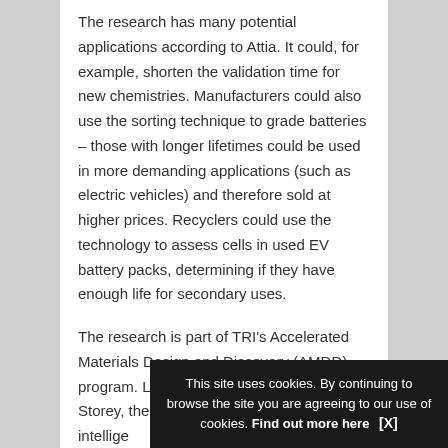The research has many potential applications according to Attia. It could, for example, shorten the validation time for new chemistries. Manufacturers could also use the sorting technique to grade batteries – those with longer lifetimes could be used in more demanding applications (such as electric vehicles) and therefore sold at higher prices. Recyclers could use the technology to assess cells in used EV battery packs, determining if they have enough life for secondary uses.
The research is part of TRI's Accelerated Materials Design and Discovery (AMDD) program. Led by program director Brian Storey, the US$35m initiative... universi... intellige...
This site uses cookies. By continuing to browse the site you are agreeing to our use of cookies. Find out more here [X]